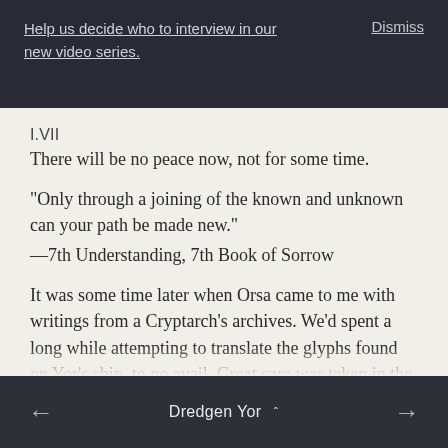Help us decide who to interview in our new video series.    Dismiss
I.VII
There will be no peace now, not for some time.
“Only through a joining of the known and unknown can your path be made new.”
— 7th Understanding, 7th Book of Sorrow
It was some time later when Orsa came to me with writings from a Cryptarch’s archives. We’d spent a long while attempting to translate the glyphs found on Yor’s ship, to no avail. Great care was taken in the furthering of our investigation
←    Dredgen Yor  ˄    →